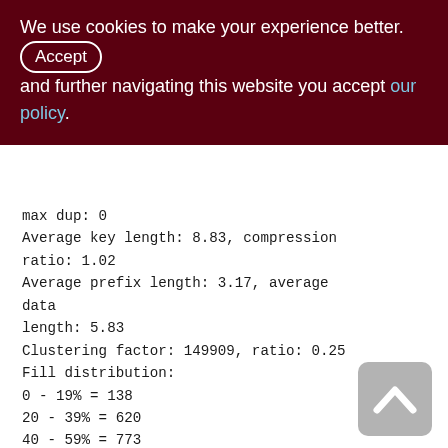We use cookies to make your experience better. By accepting and further navigating this website you accept our policy.
max dup: 0
Average key length: 8.83, compression ratio: 1.02
Average prefix length: 3.17, average data length: 5.83
Clustering factor: 149909, ratio: 0.25
Fill distribution:
0 - 19% = 138
20 - 39% = 620
40 - 59% = 773
60 - 79% = 154
80 - 99% = 219